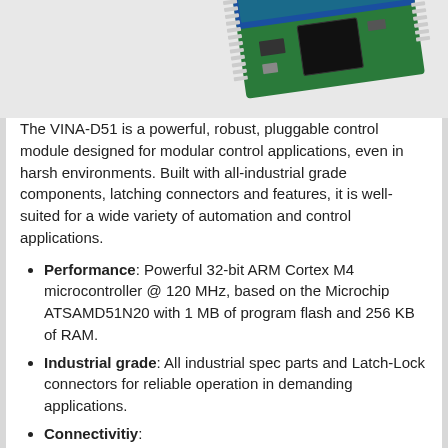[Figure (photo): Photo of VINA-D51 circuit board module with pin headers, viewed from above at an angle, showing green PCB with blue and teal components]
The VINA-D51 is a powerful, robust, pluggable control module designed for modular control applications, even in harsh environments. Built with all-industrial grade components, latching connectors and features, it is well-suited for a wide variety of automation and control applications.
Performance: Powerful 32-bit ARM Cortex M4 microcontroller @ 120 MHz, based on the Microchip ATSAMD51N20 with 1 MB of program flash and 256 KB of RAM.
Industrial grade: All industrial spec parts and Latch-Lock connectors for reliable operation in demanding applications.
Connectivitiy:
USB interface for connecting to your development PC or Laptop computer for programming.
provides virtual COM port for